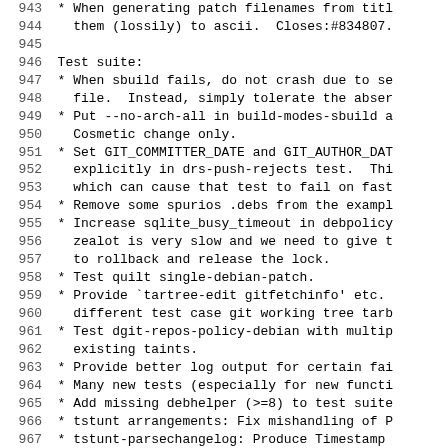Code/changelog listing, lines 943-972, monospace format showing debian package changelog entries for test suite changes by Ian Jackson.